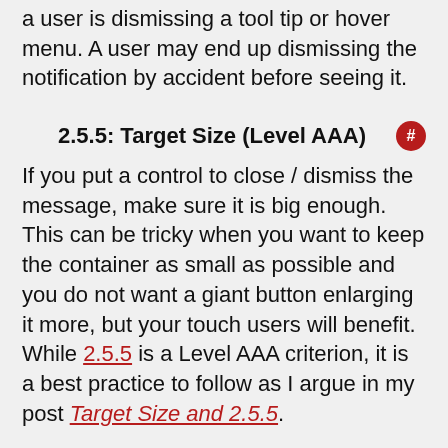a user is dismissing a tool tip or hover menu. A user may end up dismissing the notification by accident before seeing it.
2.5.5: Target Size (Level AAA)
If you put a control to close / dismiss the message, make sure it is big enough. This can be tricky when you want to keep the container as small as possible and you do not want a giant button enlarging it more, but your touch users will benefit. While 2.5.5 is a Level AAA criterion, it is a best practice to follow as I argue in my post Target Size and 2.5.5.